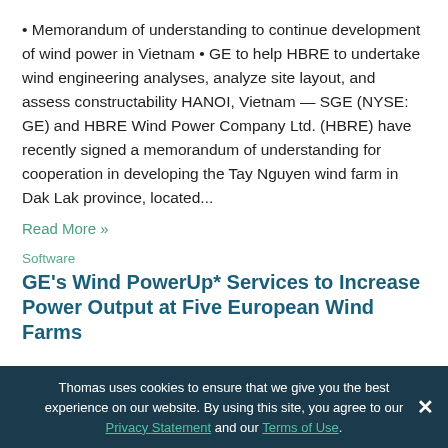• Memorandum of understanding to continue development of wind power in Vietnam • GE to help HBRE to undertake wind engineering analyses, analyze site layout, and assess constructability HANOI, Vietnam — SGE (NYSE: GE) and HBRE Wind Power Company Ltd. (HBRE) have recently signed a memorandum of understanding for cooperation in developing the Tay Nguyen wind farm in Dak Lak province, located...
Read More »
Software
GE's Wind PowerUp* Services to Increase Power Output at Five European Wind Farms
First Customized Software-enabled Platform PowerUp
Thomas uses cookies to ensure that we give you the best experience on our website. By using this site, you agree to our Privacy Statement and our Terms of Use.